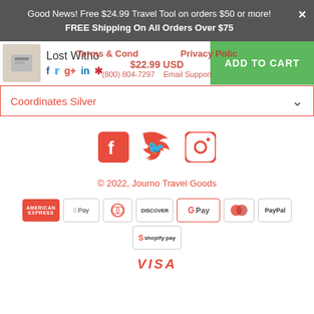Good News! Free $24.99 Travel Tool on orders $50 or more! FREE Shipping On All Orders Over $75
Lost Witho  $22.99 USD  ADD TO CART
Terms & Conditions  Privacy Policy
(800) 804-7297  Email Support
Coordinates Silver
[Figure (infographic): Social media icons: Facebook, Twitter, Instagram]
© 2022, Journo Travel Goods
[Figure (infographic): Payment method logos: American Express, Apple Pay, Diners Club, Discover, Google Pay, Mastercard, PayPal, Shopify Pay, Visa]